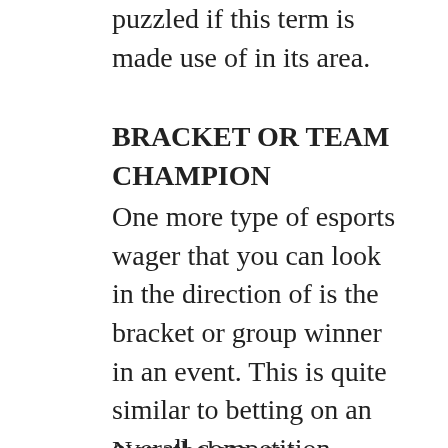puzzled if this term is made use of in its area.
BRACKET OR TEAM CHAMPION
One more type of esports wager that you can look in the direction of is the bracket or group winner in an event. This is quite similar to betting on an overall competition winner, but also for the victor at a different phase of the tournament. Like with competitions there are dangers with more overarching bets.
Nonetheless, are somewhat...